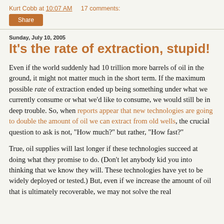Kurt Cobb at 10:07 AM    17 comments:
Share
Sunday, July 10, 2005
It's the rate of extraction, stupid!
Even if the world suddenly had 10 trillion more barrels of oil in the ground, it might not matter much in the short term. If the maximum possible rate of extraction ended up being something under what we currently consume or what we'd like to consume, we would still be in deep trouble. So, when reports appear that new technologies are going to double the amount of oil we can extract from old wells, the crucial question to ask is not, "How much?" but rather, "How fast?"
True, oil supplies will last longer if these technologies succeed at doing what they promise to do. (Don't let anybody kid you into thinking that we know they will. These technologies have yet to be widely deployed or tested.) But, even if we increase the amount of oil that is ultimately recoverable, we may not solve the real problem. We have a well-known quantity-based way of rating...